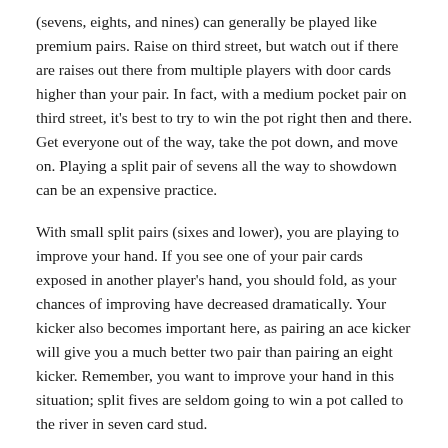(sevens, eights, and nines) can generally be played like premium pairs. Raise on third street, but watch out if there are raises out there from multiple players with door cards higher than your pair. In fact, with a medium pocket pair on third street, it's best to try to win the pot right then and there. Get everyone out of the way, take the pot down, and move on. Playing a split pair of sevens all the way to showdown can be an expensive practice.
With small split pairs (sixes and lower), you are playing to improve your hand. If you see one of your pair cards exposed in another player's hand, you should fold, as your chances of improving have decreased dramatically. Your kicker also becomes important here, as pairing an ace kicker will give you a much better two pair than pairing an eight kicker. Remember, you want to improve your hand in this situation; split fives are seldom going to win a pot called to the river in seven card stud.
The alternative to actually improving your hand when playing with correct poker strategy is just representing an improved hand. Maybe you have, for example, As-6d in the hole and 6s exposed, and the 5s comes on fourth street, you can now represent strength in your